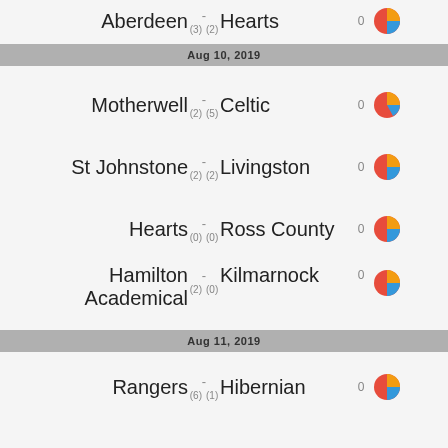Aberdeen - Hearts (3) (2)
Aug 10, 2019
Motherwell - Celtic (2) (5)
St Johnstone - Livingston (2) (2)
Hearts - Ross County (0) (0)
Hamilton Academical - Kilmarnock (2) (0)
Aug 11, 2019
Rangers - Hibernian (6) (1)